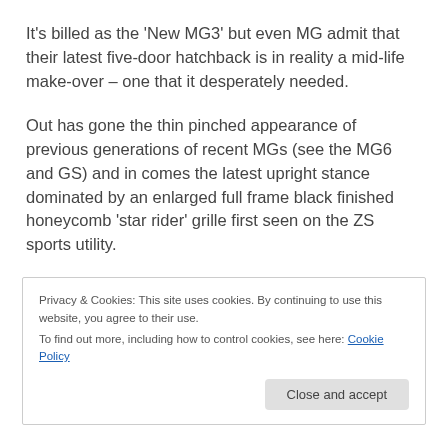It's billed as the 'New MG3' but even MG admit that their latest five-door hatchback is in reality a mid-life make-over – one that it desperately needed.
Out has gone the thin pinched appearance of previous generations of recent MGs (see the MG6 and GS) and in comes the latest upright stance dominated by an enlarged full frame black finished honeycomb 'star rider' grille first seen on the ZS sports utility.
Privacy & Cookies: This site uses cookies. By continuing to use this website, you agree to their use.
To find out more, including how to control cookies, see here: Cookie Policy